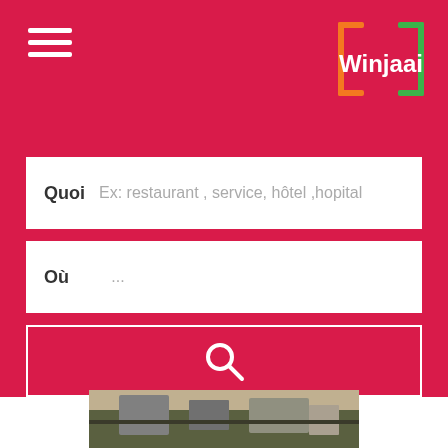[Figure (logo): Winjaai logo - orange square bracket left, colored letters W-i-n-j-a-a-i, green square bracket right, on crimson background]
Quoi  Ex: restaurant , service, hôtel ,hopital
Où  ...
[Figure (other): Search button with magnifying glass icon, crimson background with white border]
[Figure (photo): Interior of a barber shop showing barber chairs, a TV, framed pictures on tiled walls, and a reception counter]